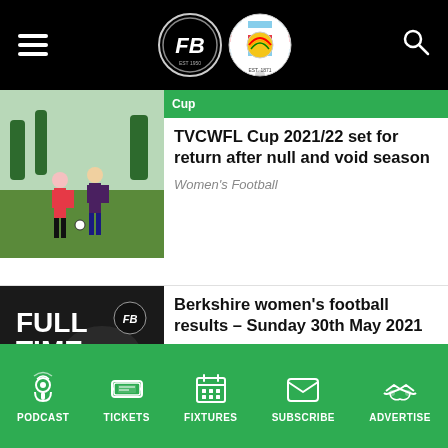[Figure (screenshot): Top navigation bar with hamburger menu, FB and Reading FC logos, and search icon on black background]
[Figure (photo): Women's football match action photo showing players in red and purple/black kits on a grass pitch]
Cup
TVCWFL Cup 2021/22 set for return after null and void season
Women's Football
[Figure (logo): Full Time graphic with FB logo on dark background with green underline]
Berkshire women's football results – Sunday 30th May 2021
Results, Women's Football
PODCAST  TICKETS  FIXTURES  SUBSCRIBE  ADVERTISE